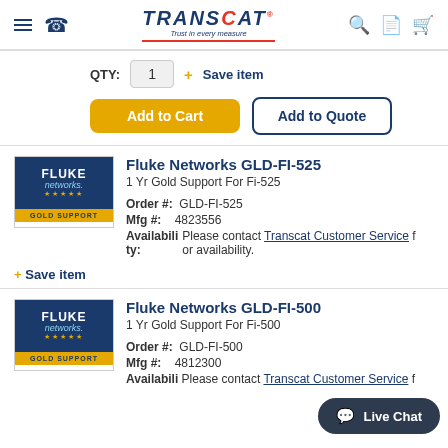[Figure (logo): Transcat logo with tagline 'Trust in every measure']
QTY: 1  + Save item
Add to Cart  Add to Quote
Fluke Networks GLD-FI-525
1 Yr Gold Support For Fi-525
Order #: GLD-FI-525
Mfg #: 4823556
Availability: Please contact Transcat Customer Service for availability.
+ Save item
Fluke Networks GLD-FI-500
1 Yr Gold Support For Fi-500
Order #: GLD-FI-500
Mfg #: 4812300
Availability: Please contact Transcat Customer Service f